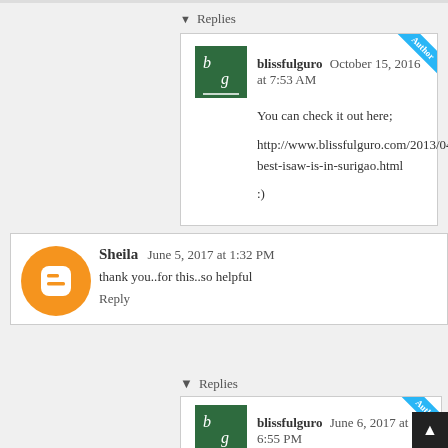Replies
blissfulguro  October 15, 2016 at 7:53 AM
You can check it out here;

http://www.blissfulguro.com/2013/04/the-best-isaw-is-in-surigao.html

:)
Sheila  June 5, 2017 at 1:32 PM
thank you..for this..so helpful
Reply
Replies
blissfulguro  June 6, 2017 at 6:55 PM
No worries! Enjoy your Bucas Grande trip :)